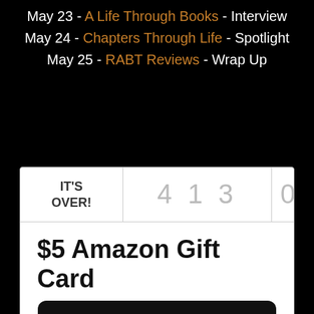May 23 - A Life Through Books - Interview
May 24 - Chapters Through Life - Spotlight
May 25 - RABT Reviews - Wrap Up
[Figure (screenshot): Giveaway widget showing countdown expired ('IT'S OVER!'), digits 4 1 3, rate 0/s, prize $5 Amazon Gift Card with Amazon logo card image]
$5 Amazon Gift Card
[Figure (logo): Amazon.com gift card image on black background]